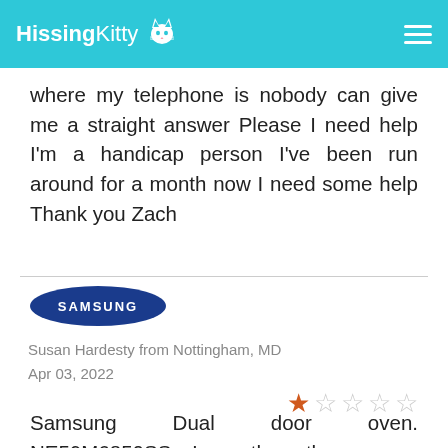HissingKitty
where my telephone is nobody can give me a straight answer Please I need help I'm a handicap person I've been run around for a month now I need some help Thank you Zach
[Figure (logo): Samsung oval logo with white text on dark blue/navy background]
Susan Hardesty from Nottingham, MD
Apr 03, 2022
[Figure (other): 1 out of 5 stars rating — one filled orange star and four empty gray stars]
Samsung Dual door oven. NE59M6850SS. Less than three years old. Cost $800.00 to repair. Door locked